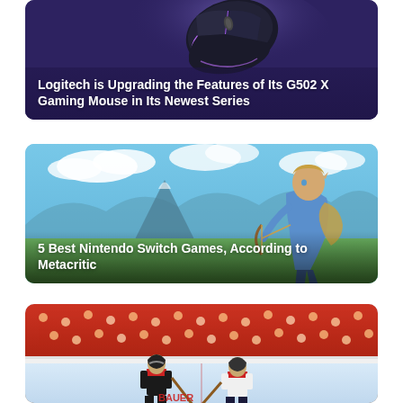[Figure (photo): Logitech G502 X gaming mouse on purple/dark blue background]
Logitech is Upgrading the Features of Its G502 X Gaming Mouse in Its Newest Series
[Figure (photo): Link from The Legend of Zelda: Breath of the Wild on a landscape background with mountains]
5 Best Nintendo Switch Games, According to Metacritic
[Figure (photo): Hockey players on ice during a game with stadium crowd in background]